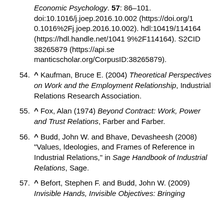(continuation) Economic Psychology. 57: 86–101. doi:10.1016/j.joep.2016.10.002 (https://doi.org/10.1016%2Fj.joep.2016.10.002). hdl:10419/114164 (https://hdl.handle.net/10419%2F114164). S2CID 38265879 (https://api.semanticscholar.org/CorpusID:38265879).
54. ^ Kaufman, Bruce E. (2004) Theoretical Perspectives on Work and the Employment Relationship, Industrial Relations Research Association.
55. ^ Fox, Alan (1974) Beyond Contract: Work, Power and Trust Relations, Farber and Farber.
56. ^ Budd, John W. and Bhave, Devasheesh (2008) "Values, Ideologies, and Frames of Reference in Industrial Relations," in Sage Handbook of Industrial Relations, Sage.
57. ^ Befort, Stephen F. and Budd, John W. (2009) Invisible Hands, Invisible Objectives: Bringing